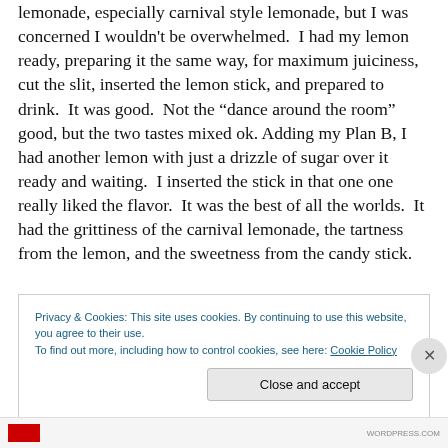lemonade, especially carnival style lemonade, but I was concerned I wouldn't be overwhelmed.  I had my lemon ready, preparing it the same way, for maximum juiciness, cut the slit, inserted the lemon stick, and prepared to drink.  It was good.  Not the “dance around the room” good, but the two tastes mixed ok. Adding my Plan B, I had another lemon with just a drizzle of sugar over it ready and waiting.  I inserted the stick in that one one really liked the flavor.  It was the best of all the worlds.  It had the grittiness of the carnival lemonade, the tartness from the lemon, and the sweetness from the candy stick.
Privacy & Cookies: This site uses cookies. By continuing to use this website, you agree to their use.
To find out more, including how to control cookies, see here: Cookie Policy
Close and accept